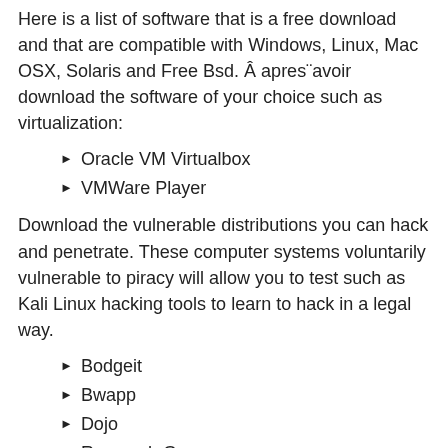Here is a list of software that is a free download and that are compatible with Windows, Linux, Mac OSX, Solaris and Free Bsd. Â apres¨avoir download the software of your choice such as virtualization:
Oracle VM Virtualbox
VMWare Player
Download the vulnerable distributions you can hack and penetrate. These computer systems voluntarily vulnerable to piracy will allow you to test such as Kali Linux hacking tools to learn to hack in a legal way.
Bodgeit
Bwapp
Dojo
Research Group
Dragon